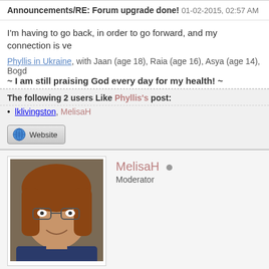Announcements/RE: Forum upgrade done! 01-02-2015, 02:57 AM
I'm having to go back, in order to go forward, and my connection is ve
Phyllis in Ukraine, with Jaan (age 18), Raia (age 16), Asya (age 14), Bogd~ I am still praising God every day for my health! ~
The following 2 users Like Phyllis's post:
lklivingston, MelisaH
[Figure (illustration): Website button with globe icon]
MelisaH Moderator
[Figure (photo): Avatar photo of MelisaH, a woman with glasses and reddish-brown hair]
Announcements/RE: Forum upgrade done! 01-02-2015, 03:12 AM
No worries.
Melisa